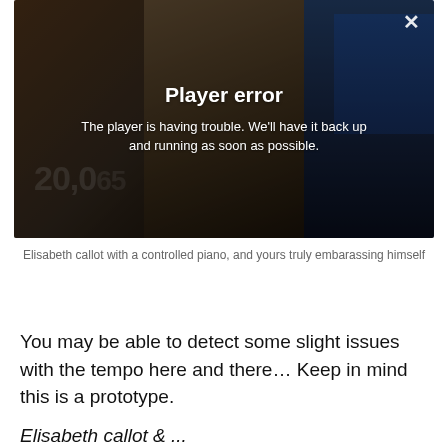[Figure (screenshot): Video player showing a darkened scene of a room with computer monitors and a person standing, overlaid with a 'Player error' message. A close (X) button is in the top-right corner. Text reads: 'Player error' and 'The player is having trouble. We'll have it back up and running as soon as possible.']
Elisabeth callot with a controlled piano, and yours truly embarassing himself
You may be able to detect some slight issues with the tempo here and there… Keep in mind this is a prototype.
Elisabeth callot & ...